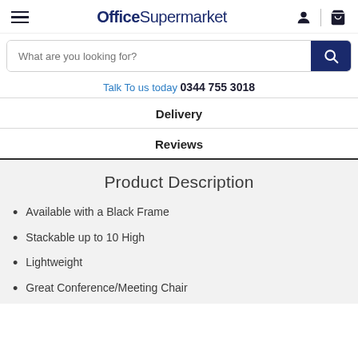OfficeSupermarket
What are you looking for?
Talk To us today 0344 755 3018
Delivery
Reviews
Product Description
Available with a Black Frame
Stackable up to 10 High
Lightweight
Great Conference/Meeting Chair